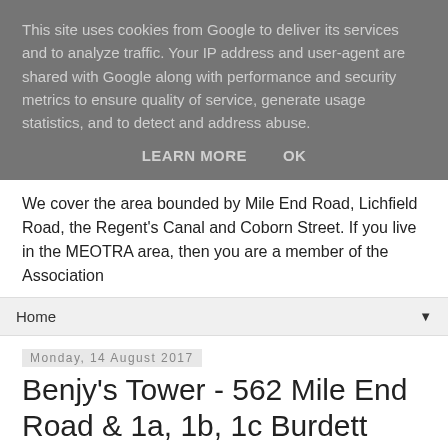This site uses cookies from Google to deliver its services and to analyze traffic. Your IP address and user-agent are shared with Google along with performance and security metrics to ensure quality of service, generate usage statistics, and to detect and address abuse.
LEARN MORE    OK
We cover the area bounded by Mile End Road, Lichfield Road, the Regent's Canal and Coborn Street. If you live in the MEOTRA area, then you are a member of the Association
Home ▼
Monday, 14 August 2017
Benjy's Tower - 562 Mile End Road & 1a, 1b, 1c Burdett Road